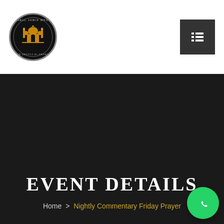[Figure (logo): Rednell Jamia Mosque circular logo with golden mosque illustration on dark background]
[Figure (other): Dark grey hamburger/menu button with horizontal lines icon in top right corner]
EVENT DETAILS
Home > Nightly Commentary Friday Prayer
[Figure (other): WhatsApp green circular button with phone handset icon in bottom right corner]